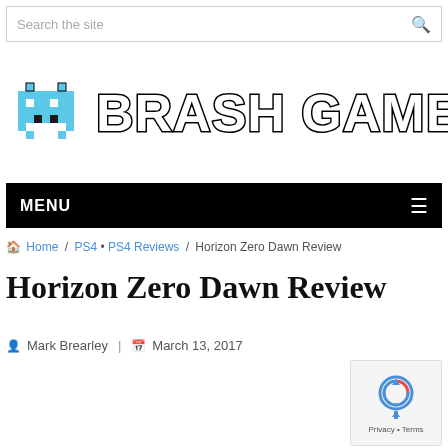Search the site
[Figure (logo): Brash Games logo with pixel art space invader and bold text reading BRASH GAMES]
MENU
Home / PS4 • PS4 Reviews / Horizon Zero Dawn Review
Horizon Zero Dawn Review
Mark Brearley | March 13, 2017